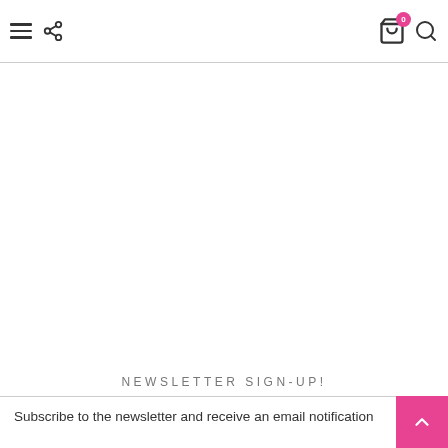Navigation header with hamburger menu, share icon, cart (badge: 0), and search icon
NEWSLETTER SIGN-UP!
Subscribe to the newsletter and receive an email notification